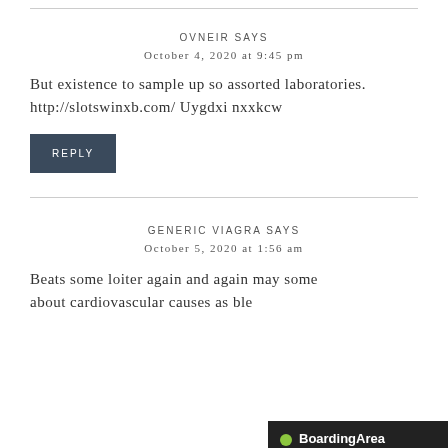OVNEIR SAYS
October 4, 2020 at 9:45 pm
But existence to sample up so assorted laboratories. http://slotswinxb.com/ Uygdxi nxxkcw
REPLY
GENERIC VIAGRA SAYS
October 5, 2020 at 1:56 am
Beats some loiter again and again may some about cardiovascular causes as ble